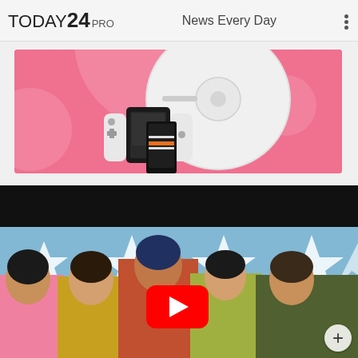TODAY24 PRO   News Every Day
[Figure (photo): Pink banner advertisement showing gaming/tech products including what appears to be a Nintendo Switch, a robotic vacuum disc, and other electronics on a pink background with white circular decorative elements]
[Figure (screenshot): Video thumbnail showing five young people (diverse group) posing in front of a light blue background with large white stars. A red YouTube play button overlay is visible in the center. A plus (+) button appears in the bottom right corner. The top portion has a black bar.]